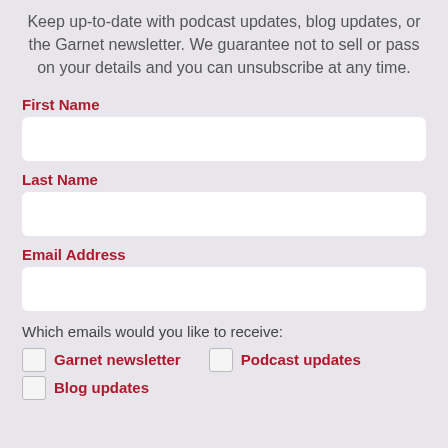Keep up-to-date with podcast updates, blog updates, or the Garnet newsletter. We guarantee not to sell or pass on your details and you can unsubscribe at any time.
First Name
Last Name
Email Address
Which emails would you like to receive:
Garnet newsletter
Podcast updates
Blog updates